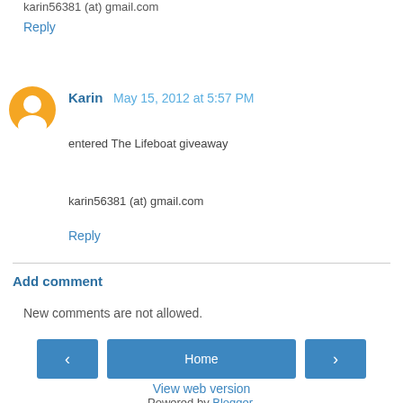karin56381 (at) gmail.com
Reply
Karin May 15, 2012 at 5:57 PM
entered The Lifeboat giveaway
karin56381 (at) gmail.com
Reply
Add comment
New comments are not allowed.
Home
View web version
Powered by Blogger.